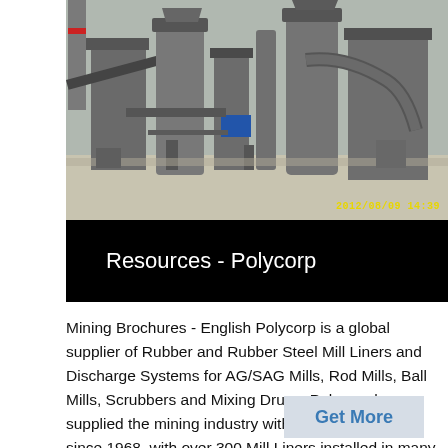[Figure (photo): Industrial mining facility with large machinery, conveyor belts, cylindrical silos, and processing equipment against an overcast sky. Timestamp '2012/08/09 14:39' visible in yellow in lower right corner.]
Resources - Polycorp
Mining Brochures - English Polycorp is a global supplier of Rubber and Rubber Steel Mill Liners and Discharge Systems for AG/SAG Mills, Rod Mills, Ball Mills, Scrubbers and Mixing Drums Polycorp has supplied the mining industry with Mill Liner Systems since 1968, with over 300 Mill Liners installed in many countries worldwide